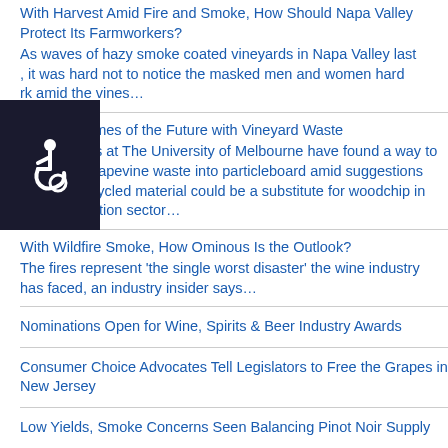With Harvest Amid Fire and Smoke, How Should Napa Valley Protect Its Farmworkers?
As waves of hazy smoke coated vineyards in Napa Valley last [summer], it was hard not to notice the masked men and women hard [at wo]rk amid the vines…
Building Homes of the Future with Vineyard Waste
Researchers at The University of Melbourne have found a way to transform grapevine waste into particleboard amid suggestions this new recycled material could be a substitute for woodchip in the construction sector…
With Wildfire Smoke, How Ominous Is the Outlook?
The fires represent 'the single worst disaster' the wine industry has faced, an industry insider says…
Nominations Open for Wine, Spirits & Beer Industry Awards
Consumer Choice Advocates Tell Legislators to Free the Grapes in New Jersey
Low Yields, Smoke Concerns Seen Balancing Pinot Noir Supply
The Latest Tech Tools for Vineyard Development